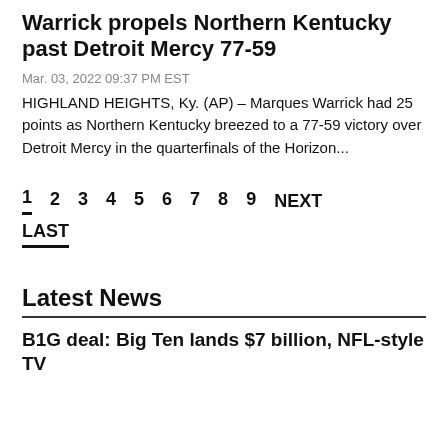Warrick propels Northern Kentucky past Detroit Mercy 77-59
Mar. 03, 2022 09:37 PM EST
HIGHLAND HEIGHTS, Ky. (AP) – Marques Warrick had 25 points as Northern Kentucky breezed to a 77-59 victory over Detroit Mercy in the quarterfinals of the Horizon...
1 2 3 4 5 6 7 8 9 NEXT
LAST
Latest News
B1G deal: Big Ten lands $7 billion, NFL-style TV